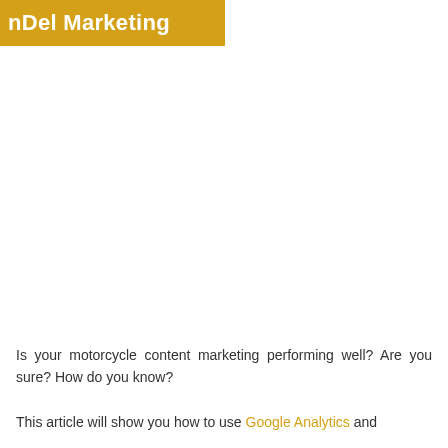nDel Marketing
Is your motorcycle content marketing performing well? Are you sure? How do you know?
This article will show you how to use Google Analytics and...